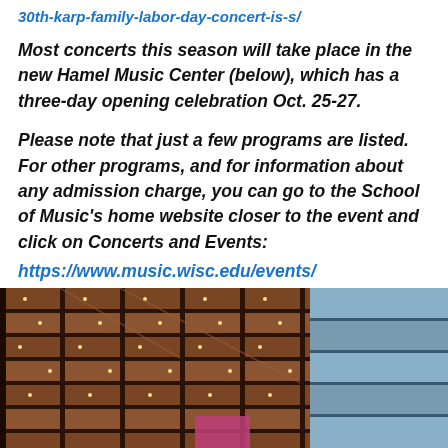30th-karp-family-labor-day-concert-is-s/
Most concerts this season will take place in the new Hamel Music Center (below), which has a three-day opening celebration Oct. 25-27.
Please note that just a few programs are listed. For other programs, and for information about any admission charge, you can go to the School of Music's home website closer to the event and click on Concerts and Events:
https://www.music.wisc.edu/events/
[Figure (photo): Exterior photograph of the Hamel Music Center building showing architectural detail with warm-lit wood paneling, horizontal structural elements, decorative lights, and glass facade against a blue sky.]